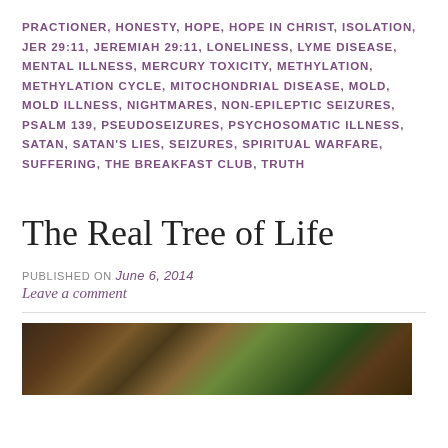PRACTIONER, HONESTY, HOPE, HOPE IN CHRIST, ISOLATION, JER 29:11, JEREMIAH 29:11, LONELINESS, LYME DISEASE, MENTAL ILLNESS, MERCURY TOXICITY, METHYLATION, METHYLATION CYCLE, MITOCHONDRIAL DISEASE, MOLD, MOLD ILLNESS, NIGHTMARES, NON-EPILEPTIC SEIZURES, PSALM 139, PSEUDOSEIZURES, PSYCHOSOMATIC ILLNESS, SATAN, SATAN'S LIES, SEIZURES, SPIRITUAL WARFARE, SUFFERING, THE BREAKFAST CLUB, TRUTH
The Real Tree of Life
PUBLISHED ON June 6, 2014
Leave a comment
[Figure (photo): Partial photo of a tree or natural scene with foliage, dark and green tones, partially cut off at the bottom of the page.]